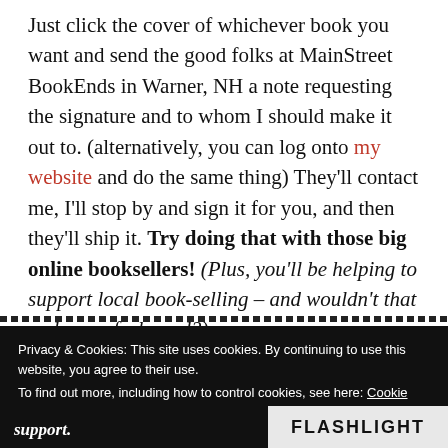Just click the cover of whichever book you want and send the good folks at MainStreet BookEnds in Warner, NH a note requesting the signature and to whom I should make it out to. (alternatively, you can log onto my website and do the same thing) They'll contact me, I'll stop by and sign it for you, and then they'll ship it. Try doing that with those big online booksellers! (Plus, you'll be helping to support local book-selling – and wouldn't that make you feel good?)
Privacy & Cookies: This site uses cookies. By continuing to use this website, you agree to their use. To find out more, including how to control cookies, see here: Cookie Policy
Close and accept
support.
FLASHLIGHT